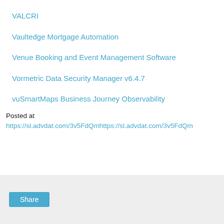VALCRI
Vaultedge Mortgage Automation
Venue Booking and Event Management Software
Vormetric Data Security Manager v6.4.7
vuSmartMaps Business Journey Observability
Posted at https://sl.advdat.com/3v5FdQmhttps://sl.advdat.com/3v5FdQm